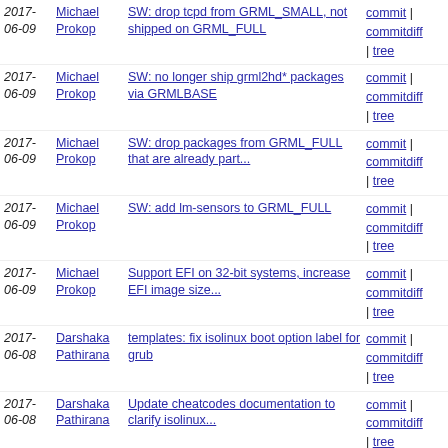2017-06-09 Michael Prokop SW: drop tcpd from GRML_SMALL, not shipped on GRML_FULL commit | commitdiff | tree
2017-06-09 Michael Prokop SW: no longer ship grml2hd* packages via GRMLBASE commit | commitdiff | tree
2017-06-09 Michael Prokop SW: drop packages from GRML_FULL that are already part... commit | commitdiff | tree
2017-06-09 Michael Prokop SW: add lm-sensors to GRML_FULL commit | commitdiff | tree
2017-06-09 Michael Prokop Support EFI on 32-bit systems, increase EFI image size... commit | commitdiff | tree
2017-06-08 Darshaka Pathirana templates: fix isolinux boot option label for grub commit | commitdiff | tree
2017-06-08 Darshaka Pathirana Update cheatcodes documentation to clarify isolinux... commit | commitdiff | tree
2017-06-08 Darshaka Pathirana templates: remove bootoption nostats commitdiff